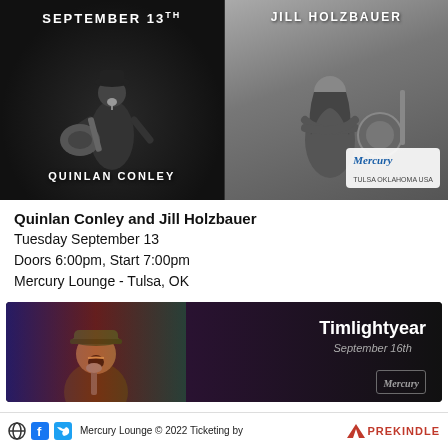[Figure (photo): Concert promotional image split into two panels. Left panel (black and white): performer Quinlan Conley playing guitar on stage with text 'SEPTEMBER 13th' at top and 'QUINLAN CONLEY' at bottom. Right panel (black and white): Jill Holzbauer sitting with a banjo, text 'JILL HOLZBAUER' at top and Mercury Lounge logo at bottom right.]
Quinlan Conley and Jill Holzbauer
Tuesday September 13
Doors 6:00pm, Start 7:00pm
Mercury Lounge - Tulsa, OK
[Figure (photo): Concert promotional image for Timlightyear on September 16th. Shows a male performer singing passionately into a microphone, wearing a cap. Text 'Timlightyear' and 'September 16th' on the right side. Mercury Lounge logo partially visible at bottom right.]
Mercury Lounge © 2022 Ticketing by PREKINDLE